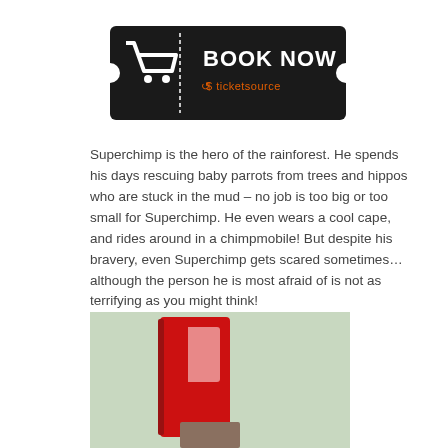[Figure (logo): TicketSource 'Book Now' banner — black ticket-shaped graphic with shopping cart icon, white text 'BOOK NOW' and orange 'ticketsource' branding]
Superchimp is the hero of the rainforest. He spends his days rescuing baby parrots from trees and hippos who are stuck in the mud – no job is too big or too small for Superchimp. He even wears a cool cape, and rides around in a chimpmobile! But despite his bravery, even Superchimp gets scared sometimes… although the person he is most afraid of is not as terrifying as you might think!
[Figure (photo): Photograph showing a large red letter 'P' prop or sign, with a person partially visible below it, against a light-coloured background]